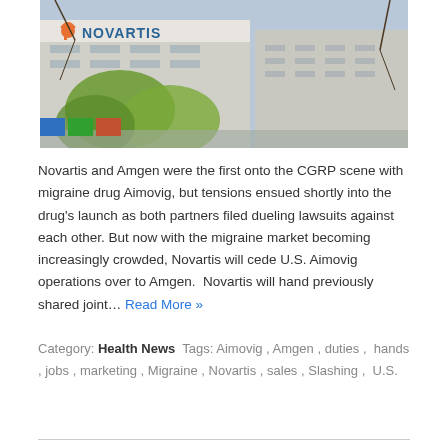[Figure (photo): Exterior photo of a Novartis building with the Novartis logo on top, trees in the foreground, and a grey sky background.]
Novartis and Amgen were the first onto the CGRP scene with migraine drug Aimovig, but tensions ensued shortly into the drug's launch as both partners filed dueling lawsuits against each other. But now with the migraine market becoming increasingly crowded, Novartis will cede U.S. Aimovig operations over to Amgen.  Novartis will hand previously shared joint… Read More »
Category: Health News  Tags: Aimovig , Amgen , duties , hands , jobs , marketing , Migraine , Novartis , sales , Slashing , U.S.